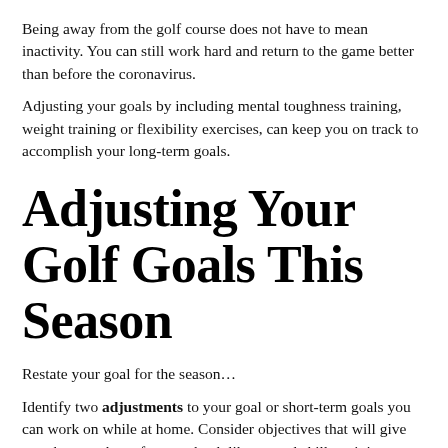Being away from the golf course does not have to mean inactivity. You can still work hard and return to the game better than before the coronavirus.
Adjusting your goals by including mental toughness training, weight training or flexibility exercises, can keep you on track to accomplish your long-term goals.
Adjusting Your Golf Goals This Season
Restate your goal for the season…
Identify two adjustments to your goal or short-term goals you can work on while at home. Consider objectives that will give you the most bang for your buck like mental skills training or physical conditioning.
Next, what's the plan for working on these two short-term goals.